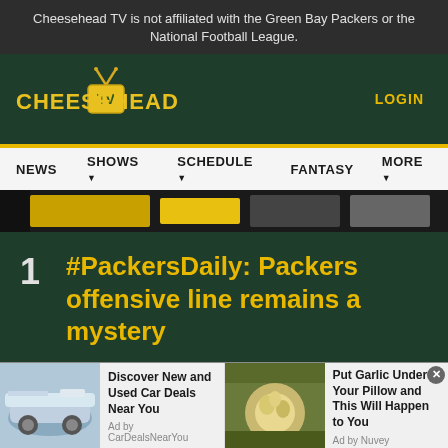Cheesehead TV is not affiliated with the Green Bay Packers or the National Football League.
[Figure (logo): Cheesehead TV logo with yellow text and TV box icon]
LOGIN
NEWS   SHOWS   SCHEDULE   FANTASY   MORE
[Figure (photo): Green Bay Packers football banner strip image]
1
#PackersDaily: Packers offensive line remains a mystery
[Figure (photo): Advertisement: Discover New and Used Car Deals Near You - Ad by CarDealsNearYou]
[Figure (photo): Advertisement: Put Garlic Under Your Pillow and This Will Happen to You - Ad by Nuvey]